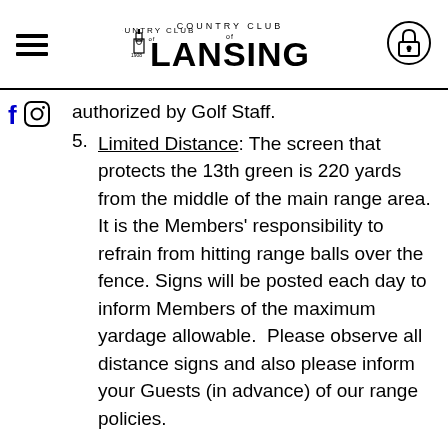Country Club of Lansing
authorized by Golf Staff.
5. Limited Distance: The screen that protects the 13th green is 220 yards from the middle of the main range area. It is the Members' responsibility to refrain from hitting range balls over the fence. Signs will be posted each day to inform Members of the maximum yardage allowable. Please observe all distance signs and also please inform your Guests (in advance) of our range policies.